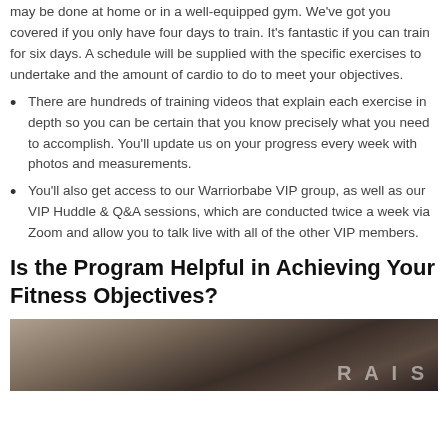may be done at home or in a well-equipped gym. We've got you covered if you only have four days to train. It's fantastic if you can train for six days. A schedule will be supplied with the specific exercises to undertake and the amount of cardio to do to meet your objectives.
There are hundreds of training videos that explain each exercise in depth so you can be certain that you know precisely what you need to accomplish. You'll update us on your progress every week with photos and measurements.
You'll also get access to our Warriorbabe VIP group, as well as our VIP Huddle & Q&A sessions, which are conducted twice a week via Zoom and allow you to talk live with all of the other VIP members.
Is the Program Helpful in Achieving Your Fitness Objectives?
[Figure (photo): Photo of people exercising in a gym setting with text overlay showing partial word 'RAISE']